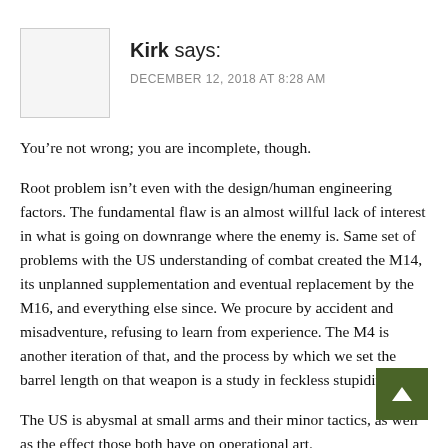Kirk says: DECEMBER 12, 2018 AT 8:28 AM
You’re not wrong; you are incomplete, though.
Root problem isn’t even with the design/human engineering factors. The fundamental flaw is an almost willful lack of interest in what is going on downrange where the enemy is. Same set of problems with the US understanding of combat created the M14, its unplanned supplementation and eventual replacement by the M16, and everything else since. We procure by accident and misadventure, refusing to learn from experience. The M4 is another iteration of that, and the process by which we set the barrel length on that weapon is a study in feckless stupidity.
The US is abysmal at small arms and their minor tactics, as well as the effect those both have on operational art.